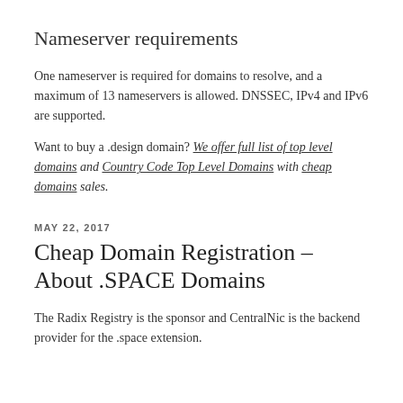Nameserver requirements
One nameserver is required for domains to resolve, and a maximum of 13 nameservers is allowed. DNSSEC, IPv4 and IPv6 are supported.
Want to buy a .design domain? We offer full list of top level domains and Country Code Top Level Domains with cheap domains sales.
MAY 22, 2017
Cheap Domain Registration – About .SPACE Domains
The Radix Registry is the sponsor and CentralNic is the backend provider for the .space extension.